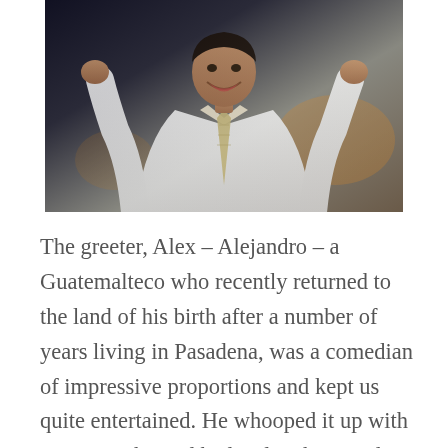[Figure (photo): A man in a white dress shirt and striped tie flexing both arms in a victory/muscle pose, laughing, photographed indoors with a dark blurred background.]
The greeter, Alex – Alejandro – a Guatemalteco who recently returned to the land of his birth after a number of years living in Pasadena, was a comedian of impressive proportions and kept us quite entertained. He whooped it up with any passerby and had us laughing and laughing...